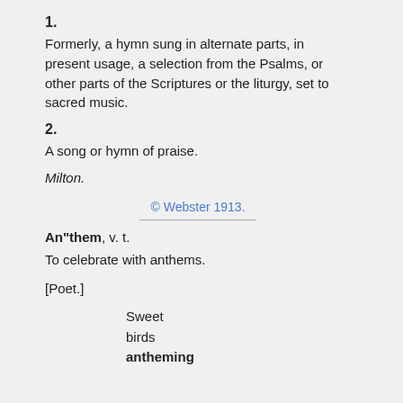1.
Formerly, a hymn sung in alternate parts, in present usage, a selection from the Psalms, or other parts of the Scriptures or the liturgy, set to sacred music.
2.
A song or hymn of praise.
Milton.
© Webster 1913.
An"them, v. t.
To celebrate with anthems.
[Poet.]
Sweet birds antheming